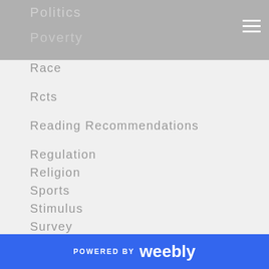Politics
Poverty
Race
Rcts
Reading Recommendations
Regulation
Religion
Sports
Stimulus
Survey
Taxes
Technology
Trade
Travel
Viewing Recommendations
RSS Feed
POWERED BY weebly